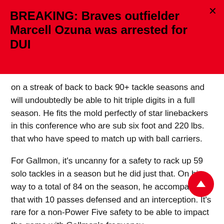BREAKING: Braves outfielder Marcell Ozuna was arrested for DUI
on a streak of back to back 90+ tackle seasons and will undoubtedly be able to hit triple digits in a full season. He fits the mold perfectly of star linebackers in this conference who are sub six foot and 220 lbs. that who have speed to match up with ball carriers.
For Gallmon, it's uncanny for a safety to rack up 59 solo tackles in a season but he did just that. On his way to a total of 84 on the season, he accompanied that with 10 passes defensed and an interception. It's rare for a non-Power Five safety to be able to impact the game with Gallmon's frequency.
Both of these guys will be imperative to the Jaguars quest for a Sun Belt crown, especially since they should have a legitimate offense with Jake Bentley under center.